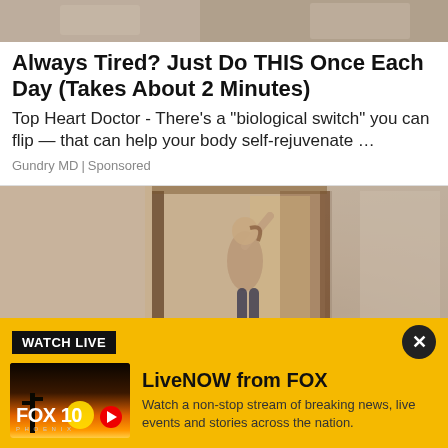[Figure (photo): Top portion of a photo, blurred/cropped, showing a bedroom or indoor scene in warm tones]
Always Tired? Just Do THIS Once Each Day (Takes About 2 Minutes)
Top Heart Doctor - There’s a “biological switch” you can flip — that can help your body self-rejuvenate …
Gundry MD | Sponsored
[Figure (photo): A woman in activewear raising one arm in a hallway or corridor of a house]
WATCH LIVE
LiveNOW from FOX
Watch a non-stop stream of breaking news, live events and stories across the nation.